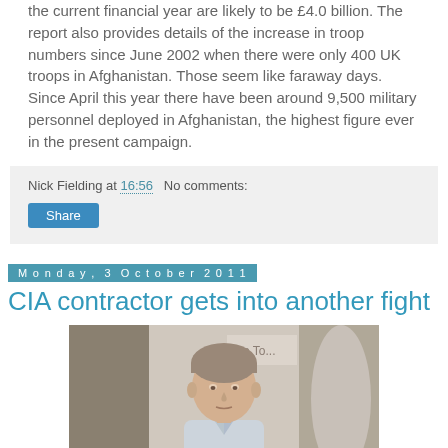the current financial year are likely to be £4.0 billion. The report also provides details of the increase in troop numbers since June 2002 when there were only 400 UK troops in Afghanistan. Those seem like faraway days. Since April this year there have been around 9,500 military personnel deployed in Afghanistan, the highest figure ever in the present campaign.
Nick Fielding at 16:56   No comments:
Share
Monday, 3 October 2011
CIA contractor gets into another fight
[Figure (photo): Portrait photo of a man in a light blue shirt, short grey hair, serious expression, standing in front of a display with partial text visible]